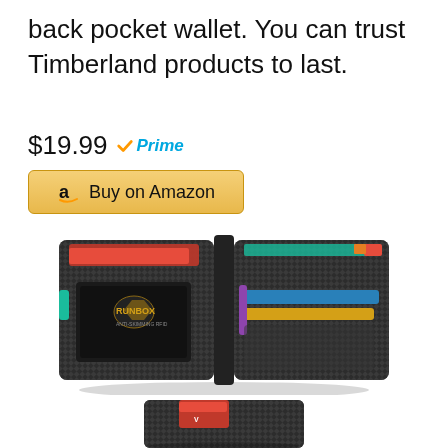back pocket wallet. You can trust Timberland products to last.
$19.99 Prime
[Figure (other): Buy on Amazon button with Amazon logo]
[Figure (photo): Open bifold carbon fiber pattern wallet (RUNBOX brand) showing card slots with colorful cards on both sides]
[Figure (photo): Partially visible carbon fiber wallet from bottom showing red cards]